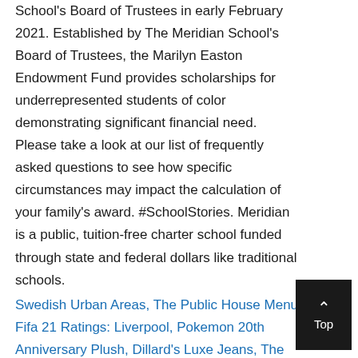School's Board of Trustees in early February 2021. Established by The Meridian School's Board of Trustees, the Marilyn Easton Endowment Fund provides scholarships for underrepresented students of color demonstrating significant financial need. Please take a look at our list of frequently asked questions to see how specific circumstances may impact the calculation of your family's award. #SchoolStories. Meridian is a public, tuition-free charter school funded through state and federal dollars like traditional schools.
Swedish Urban Areas, The Public House Menu, Fifa 21 Ratings: Liverpool, Pokemon 20th Anniversary Plush, Dillard's Luxe Jeans, The Rich Son Ep 1 Eng Sub